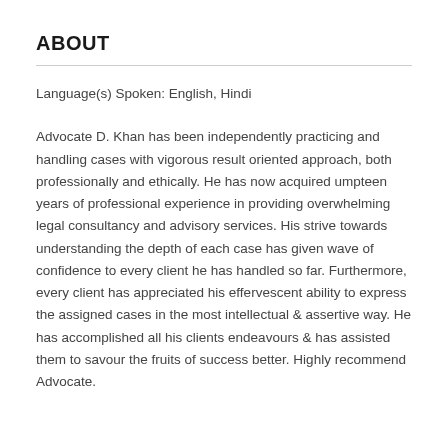ABOUT
Language(s) Spoken: English, Hindi
Advocate D. Khan has been independently practicing and handling cases with vigorous result oriented approach, both professionally and ethically. He has now acquired umpteen years of professional experience in providing overwhelming legal consultancy and advisory services. His strive towards understanding the depth of each case has given wave of confidence to every client he has handled so far. Furthermore, every client has appreciated his effervescent ability to express the assigned cases in the most intellectual & assertive way. He has accomplished all his clients endeavours & has assisted them to savour the fruits of success better. Highly recommend Advocate.